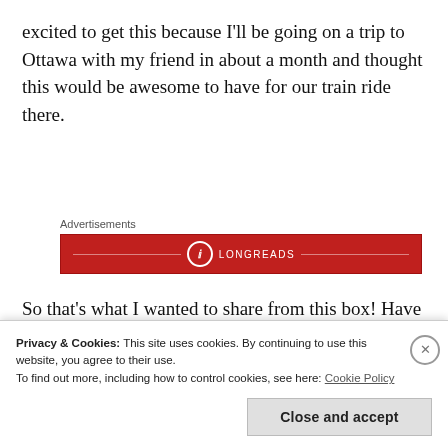excited to get this because I'll be going on a trip to Ottawa with my friend in about a month and thought this would be awesome to have for our train ride there.
[Figure (other): Longreads advertisement banner — red background with Longreads logo (L in a circle) and brand name in white text]
So that's what I wanted to share from this box! Have you ordered the FLARE box or any other Limited Edition box from topbox?
Privacy & Cookies: This site uses cookies. By continuing to use this website, you agree to their use.
To find out more, including how to control cookies, see here: Cookie Policy